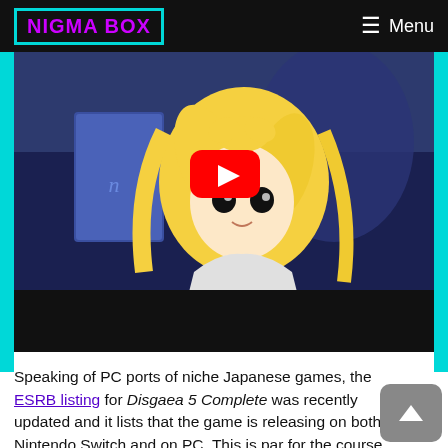NIGMA BOX | Menu
[Figure (screenshot): YouTube video thumbnail showing an anime girl with blonde hair holding a book, with a red YouTube play button in the center]
Speaking of PC ports of niche Japanese games, the ESRB listing for Disgaea 5 Complete was recently updated and it lists that the game is releasing on both the Nintendo Switch and on PC. This is par for the course considering how Nippon Ichi Software has been supporting the platform over the past two years, and seeing as how they were porting Disgaea 5 to a new platform, it